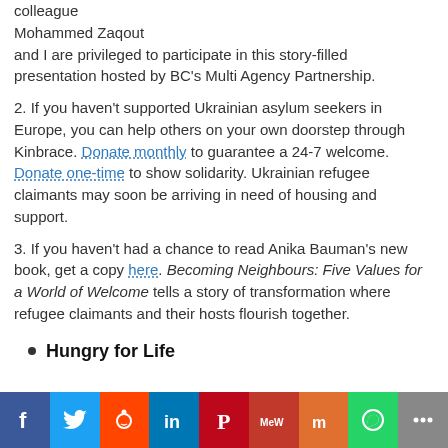colleague Mohammed Zaqout and I are privileged to participate in this story-filled presentation hosted by BC's Multi Agency Partnership.
2. If you haven't supported Ukrainian asylum seekers in Europe, you can help others on your own doorstep through Kinbrace. Donate monthly to guarantee a 24-7 welcome. Donate one-time to show solidarity. Ukrainian refugee claimants may soon be arriving in need of housing and support.
3. If you haven't had a chance to read Anika Bauman's new book, get a copy here. Becoming Neighbours: Five Values for a World of Welcome tells a story of transformation where refugee claimants and their hosts flourish together.
Hungry for Life
[Figure (other): Social media sharing buttons: Facebook, Twitter, Reddit, LinkedIn, Pinterest, MeWe, Mix, WhatsApp, More]